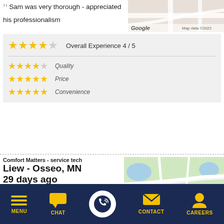Sam was very thorough - appreciated his professionalism
[Figure (map): Google Maps snippet showing a road map area with 'Map data ©2022' label]
[Figure (infographic): Star ratings box: Overall Experience 4/5 with 4 yellow stars and 1 gray star; Quality 4/5; Price 5/5; Convenience 5/5]
Comfort Matters - service tech
Liew - Osseo, MN
29 days ago
Review of Comfort Matters
I've generally had very
[Figure (map): Google Maps snippet showing Osseo MN area with blue location pin, 'Map data ©2022' label]
[Figure (infographic): Bottom navigation bar with icons: MENU, CHAT, phone call button, CONTACT, CAREERS on dark navy background with yellow icons]